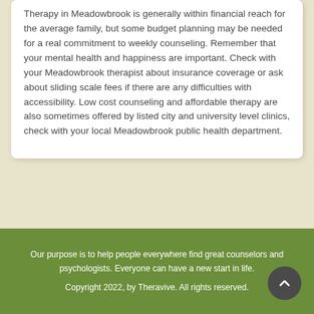Therapy in Meadowbrook is generally within financial reach for the average family, but some budget planning may be needed for a real commitment to weekly counseling. Remember that your mental health and happiness are important. Check with your Meadowbrook therapist about insurance coverage or ask about sliding scale fees if there are any difficulties with accessibility. Low cost counseling and affordable therapy are also sometimes offered by listed city and university level clinics, check with your local Meadowbrook public health department.
Our purpose is to help people everywhere find great counselors and psychologists. Everyone can have a new start in life. Copyright 2022, by Theravive. All rights reserved.